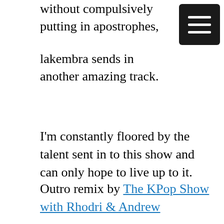without compulsively putting in apostrophes,
[Figure (screenshot): Dark hamburger menu button (three white horizontal lines on black rounded rectangle background) in top right corner]
lakembra sends in another amazing track.
I'm constantly floored by the talent sent in to this show and can only hope to live up to it.
Outro remix by The KPop Show with Rhodri & Andrew